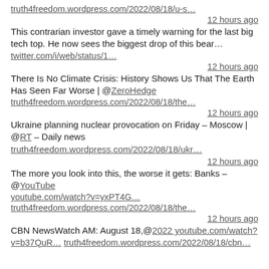truth4freedom.wordpress.com/2022/08/18/u-s...
12 hours ago
This contrarian investor gave a timely warning for the last big tech top. He now sees the biggest drop of this bear...
twitter.com/i/web/status/1...
12 hours ago
There Is No Climate Crisis: History Shows Us That The Earth Has Seen Far Worse | @ZeroHedge
truth4freedom.wordpress.com/2022/08/18/the...
12 hours ago
Ukraine planning nuclear provocation on Friday – Moscow | @RT – Daily news truth4freedom.wordpress.com/2022/08/18/ukr...
12 hours ago
The more you look into this, the worse it gets: Banks –@YouTube youtube.com/watch?v=yxPT4G... truth4freedom.wordpress.com/2022/08/18/the...
12 hours ago
CBN NewsWatch AM: August 18,@2022 youtube.com/watch?v=b37QuR... truth4freedom.wordpress.com/2022/08/18/cbn...